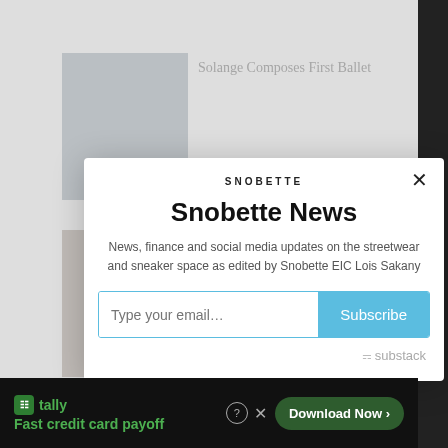[Figure (screenshot): Background webpage showing Snobette article list with thumbnail images and headline 'Solange Composes First Ballet']
[Figure (screenshot): Snobette newsletter subscription modal popup with title 'Snobette News', description text, email input field, Subscribe button, and Substack branding]
Snobette News
News, finance and social media updates on the streetwear and sneaker space as edited by Snobette EIC Lois Sakany
[Figure (screenshot): Advertisement banner for Tally app: 'Fast credit card payoff' with green Download Now button]